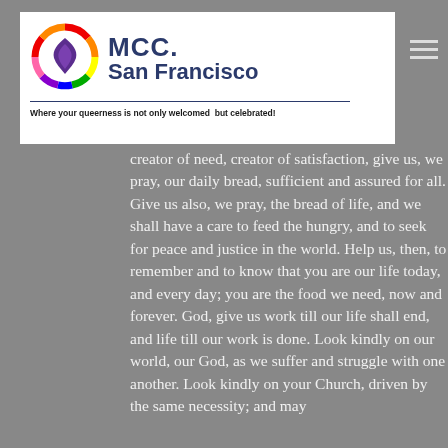[Figure (logo): MCC San Francisco church logo with rainbow circle and purple flame, tagline: Where your queerness is not only welcomed but celebrated!]
creator of need, creator of satisfaction, give us, we pray, our daily bread, sufficient and assured for all. Give us also, we pray, the bread of life, and we shall have a care to feed the hungry, and to seek for peace and justice in the world. Help us, then, to remember and to know that you are our life today, and every day; you are the food we need, now and forever. God, give us work till our life shall end, and life till our work is done. Look kindly on our world, our God, as we suffer and struggle with one another. Look kindly on your Church, driven by the same necessity; and may